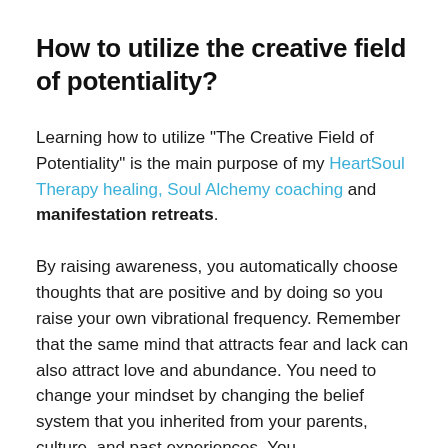How to utilize the creative field of potentiality?
Learning how to utilize "The Creative Field of Potentiality" is the main purpose of my HeartSoul Therapy healing, Soul Alchemy coaching and manifestation retreats.
By raising awareness, you automatically choose thoughts that are positive and by doing so you raise your own vibrational frequency. Remember that the same mind that attracts fear and lack can also attract love and abundance. You need to change your mindset by changing the belief system that you inherited from your parents, culture, and past experiences. You